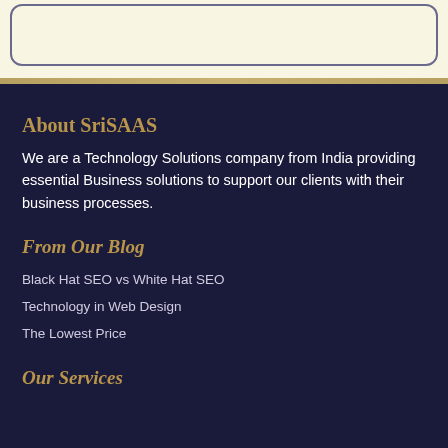[Figure (other): Rounded rectangle box with light yellow/cream background and grey-purple border, top section of page]
About SriSAAS
We are a Technology Solutions company from India providing essential Business solutions to support our clients with their business processes.
From Our Blog
Black Hat SEO vs White Hat SEO
Technology in Web Design
The Lowest Price
Our Services